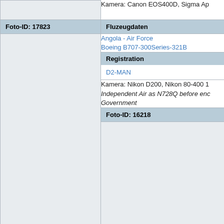|  |  |
| --- | --- |
|  | Kamera: Canon EOS400D, Sigma Ap |
| Foto-ID: 17823 | Fluzeugdaten |
|  | Angola - Air Force
Boeing B707-300Series-321B |
|  | Registration |
|  | D2-MAN |
|  | Kamera: Nikon D200, Nikon 80-400 1
Independent Air as N728Q before enc
Government |
| Foto-ID: 16218 | Fluzeugdaten |
|  | Lineas Aereas Paraguayas - LAP
Boeing B707-300Series-321B |
|  | Registration |
|  | ZP-CCE |
| Foto-ID: 16217 | Fluzeugdaten |
|  | Lineas Aereas Paraguayas - LAP
Boeing B707-300Series-321B |
|  | Registration |
|  | ZP-CCF |